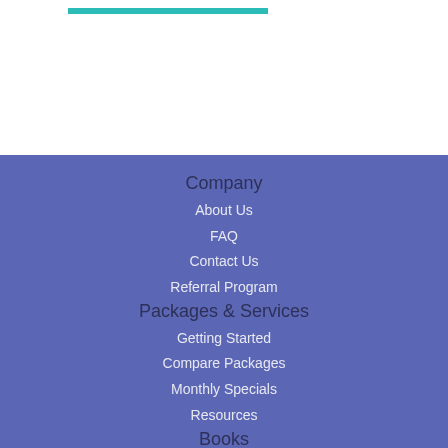Company
About Us
FAQ
Contact Us
Referral Program
Packages & Services
Getting Started
Compare Packages
Monthly Specials
Resources
Books
BookStub™ Redemption